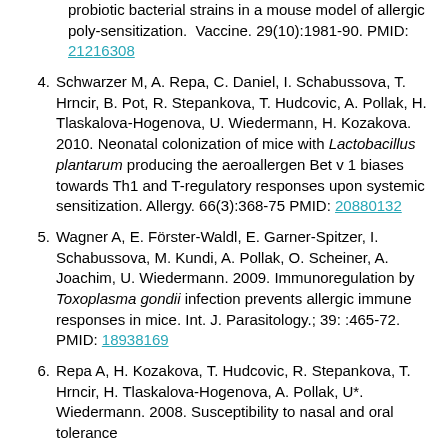probiotic bacterial strains in a mouse model of allergic poly-sensitization. Vaccine. 29(10):1981-90. PMID: 21216308
4. Schwarzer M, A. Repa, C. Daniel, I. Schabussova, T. Hrncir, B. Pot, R. Stepankova, T. Hudcovic, A. Pollak, H. Tlaskalova-Hogenova, U. Wiedermann, H. Kozakova. 2010. Neonatal colonization of mice with Lactobacillus plantarum producing the aeroallergen Bet v 1 biases towards Th1 and T-regulatory responses upon systemic sensitization. Allergy. 66(3):368-75 PMID: 20880132
5. Wagner A, E. Förster-Waldl, E. Garner-Spitzer, I. Schabussova, M. Kundi, A. Pollak, O. Scheiner, A. Joachim, U. Wiedermann. 2009. Immunoregulation by Toxoplasma gondii infection prevents allergic immune responses in mice. Int. J. Parasitology.; 39: :465-72. PMID: 18938169
6. Repa A, H. Kozakova, T. Hudcovic, R. Stepankova, T. Hrncir, H. Tlaskalova-Hogenova, A. Pollak, U*. Wiedermann. 2008. Susceptibility to nasal and oral tolerance